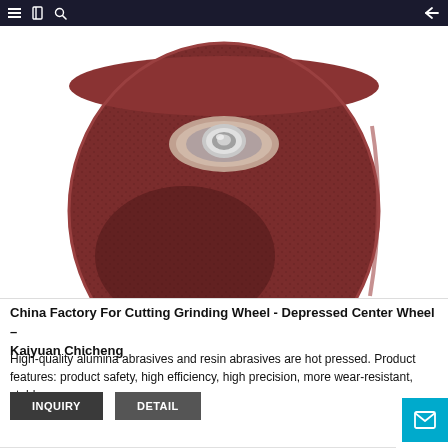Navigation bar with menu, bookmark, search icons and back arrow
[Figure (photo): Close-up photo of a dark reddish-brown depressed center grinding wheel with a silver metal center hub, viewed slightly from above and to the side.]
China Factory For Cutting Grinding Wheel - Depressed Center Wheel – Kaiyuan Chicheng
High-quality alumina abrasives and resin abrasives are hot pressed. Product features: product safety, high efficiency, high precision, more wear-resistant, stable
INQUIRY   DETAIL